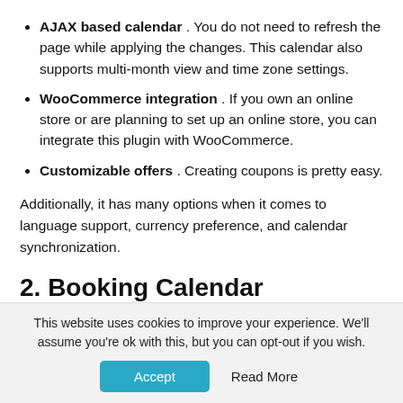AJAX based calendar . You do not need to refresh the page while applying the changes. This calendar also supports multi-month view and time zone settings.
WooCommerce integration . If you own an online store or are planning to set up an online store, you can integrate this plugin with WooCommerce.
Customizable offers . Creating coupons is pretty easy.
Additionally, it has many options when it comes to language support, currency preference, and calendar synchronization.
2. Booking Calendar
This website uses cookies to improve your experience. We'll assume you're ok with this, but you can opt-out if you wish.